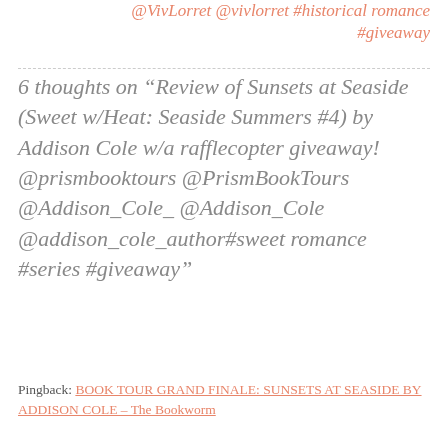@VivLorret @vivlorret #historical romance #giveaway
6 thoughts on “Review of Sunsets at Seaside (Sweet w/Heat: Seaside Summers #4) by Addison Cole w/a rafflecopter giveaway! @prismbooktours @PrismBookTours @Addison_Cole_ @Addison_Cole @addison_cole_author#sweet romance #series #giveaway”
Pingback: BOOK TOUR GRAND FINALE: SUNSETS AT SEASIDE BY ADDISON COLE – The Bookworm Chronicles